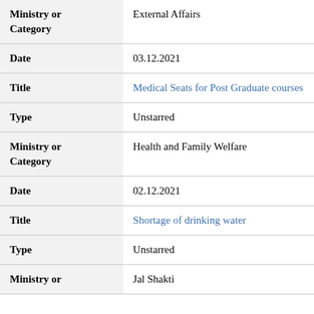| Field | Value |
| --- | --- |
| Ministry or Category | External Affairs |
| Date | 03.12.2021 |
| Title | Medical Seats for Post Graduate courses |
| Type | Unstarred |
| Ministry or Category | Health and Family Welfare |
| Date | 02.12.2021 |
| Title | Shortage of drinking water |
| Type | Unstarred |
| Ministry or | Jal Shakti |